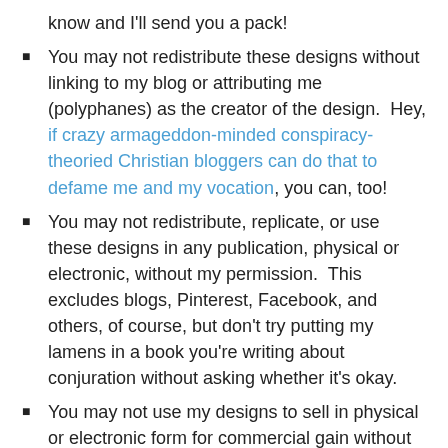know and I’ll send you a pack!
You may not redistribute these designs without linking to my blog or attributing me (polyphanes) as the creator of the design.  Hey, if crazy armageddon-minded conspiracy-theoried Christian bloggers can do that to defame me and my vocation, you can, too!
You may not redistribute, replicate, or use these designs in any publication, physical or electronic, without my permission.  This excludes blogs, Pinterest, Facebook, and others, of course, but don’t try putting my lamens in a book you’re writing about conjuration without asking whether it’s okay.
You may not use my designs to sell in physical or electronic form for commercial gain without my permission.  This includes printing out the lamen designs and consecrating them to sell for others,